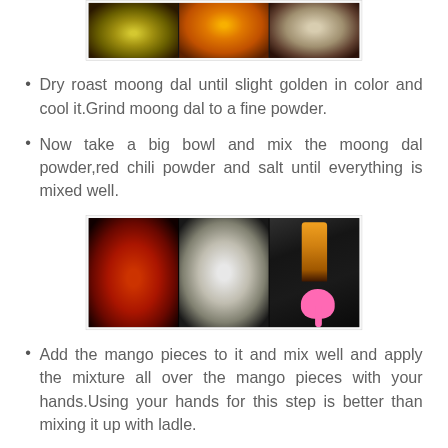[Figure (photo): Three food ingredients in bowls: yellow-green moong dal, orange turmeric/powder, white grain/salt, arranged side by side on dark background]
Dry roast moong dal until slight golden in color and cool it.Grind moong dal to a fine powder.
Now take a big bowl and mix the moong dal powder,red chili powder and salt until everything is mixed well.
[Figure (photo): Three ingredients in bowls/containers: red chili powder in a bowl, white salt in a bowl, oil being poured with a pink ladle/spoon, on dark background]
Add the mango pieces to it and mix well and apply the mixture all over the mango pieces with your hands.Using your hands for this step is better than mixing it up with ladle.